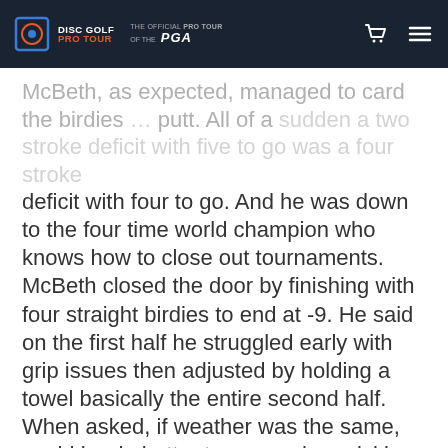DISC GOLF PRO TOUR | THE OFFICIAL PRO TOUR OF THE PGA
McBeth, as expected, managed to card the birdies … putt. All of a sudden a two stroke deficit with five to go was a four stroke deficit with four to go. And he was down to the four time world champion who knows how to close out tournaments.
McBeth closed the door by finishing with four straight birdies to end at -9. He said on the first half he struggled early with grip issues then adjusted by holding a towel basically the entire second half. When asked, if weather was the same, could he do better tomorrow he quickly answered, "Oh easily, yeah. There were a bunch of 35 – 40 foot putts on the back nine alone. The grip issues I was having caused my drives to spray a bit. … I could clean it up a lot" and would be looking to shoot "a 12 or 13".
Two cards in and the battle is as intense as we